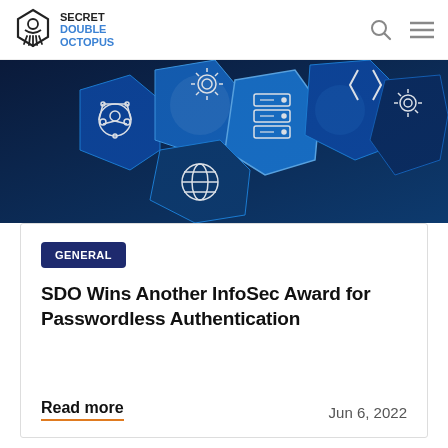SECRET DOUBLE OCTOPUS
[Figure (photo): Blue-toned hexagonal technology icons including people/network, server, gears, globe, and code brackets on a dark blue background]
GENERAL
SDO Wins Another InfoSec Award for Passwordless Authentication
Read more
Jun 6, 2022